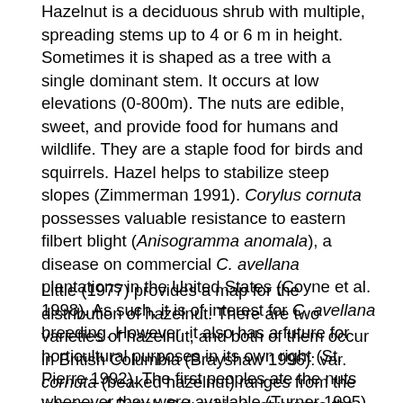Hazelnut is a deciduous shrub with multiple, spreading stems up to 4 or 6 m in height. Sometimes it is shaped as a tree with a single dominant stem. It occurs at low elevations (0-800m). The nuts are edible, sweet, and provide food for humans and wildlife. They are a staple food for birds and squirrels. Hazel helps to stabilize steep slopes (Zimmerman 1991). Corylus cornuta possesses valuable resistance to eastern filbert blight (Anisogramma anomala), a disease on commercial C. avellana plantations in the United States (Coyne et al. 1998). As such, it is of interest for C. avellana breeding. However, it also has a future for horticultural purposes in its own right (St. Pierre 1992). The first peoples ate the nuts whenever they were available (Turner 1995). The straight sucker shoots were made into arrows (Turner 1979).
Little (1977) provides a map for the distribution of hazelnut. There are two varieties of hazelnut, and both of them occur in British Columbia (Brayshaw 1996): var. cornuta (beaked hazelnut) ranges from the interior of British Columbia eastward to the Atlantic coast; and var. californica (California hazel) occurs in the central and southern portions of the Pacific region, with an extension into the central Cordilleran region. Its range stretches